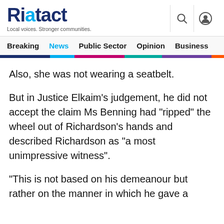Riatact — Local voices. Stronger communities.
Breaking  News  Public Sector  Opinion  Business  R
Also, she was not wearing a seatbelt.
But in Justice Elkaim's judgement, he did not accept the claim Ms Benning had "ripped" the wheel out of Richardson's hands and described Richardson as "a most unimpressive witness".
"This is not based on his demeanour but rather on the manner in which he gave a